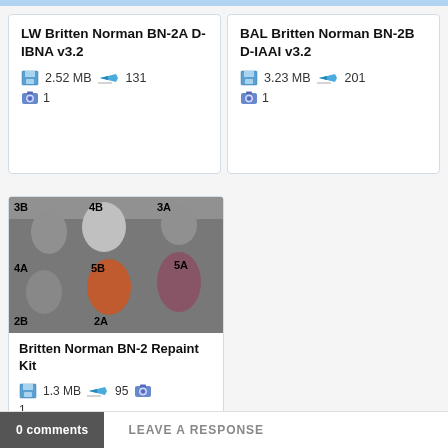LW Britten Norman BN-2A D-IBNA v3.2
2.52 MB   131   1
BAL Britten Norman BN-2B D-IAAI v3.2
3.23 MB   201   1
[Figure (photo): Britten Norman BN-2 aircraft interior showing seated passengers labeled 3B, 4B, 3A, 4A, 5B, 5A, 2B, 2A]
Britten Norman BN-2 Repaint Kit
1.3 MB   95   1
0 comments
LEAVE A RESPONSE